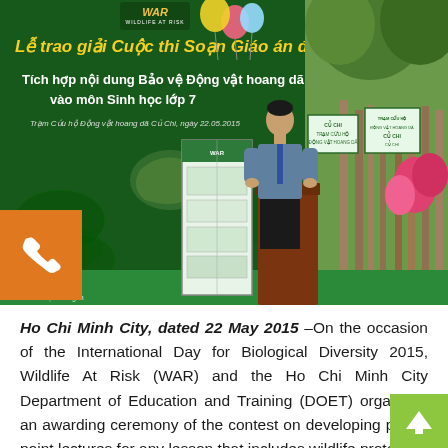[Figure (photo): Outdoor event photo showing a man speaking at a wooden podium in front of a large green WAR (Wildlife At Risk) banner. The banner displays Vietnamese text about integrating wildlife protection content into Grade 7 Biology curriculum. Balloons are visible, and a display stand/poster board is to the left of the speaker. Signs visible on the right edge. Orange phone button overlay on lower left.]
Ho Chi Minh City, dated 22 May 2015 –On the occasion of the International Day for Biological Diversity 2015, Wildlife At Risk (WAR) and the Ho Chi Minh City Department of Education and Training (DOET) organised an awarding ceremony of the contest on developing power point lectures for any lesson that includes wildlife protection content of Biology Subject Grade 7. The awarding ceremony was organised at Cu Chi Wildlife Rescue Station in order to award best power point